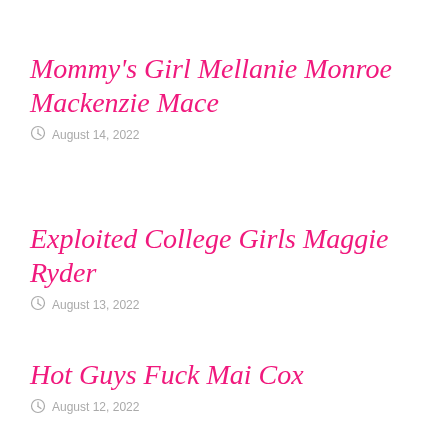Mommy's Girl Mellanie Monroe Mackenzie Mace
August 14, 2022
Exploited College Girls Maggie Ryder
August 13, 2022
Hot Guys Fuck Mai Cox
August 12, 2022